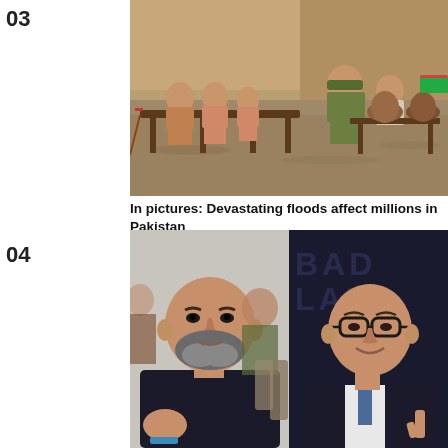03
[Figure (photo): Flood photo: Children and a woman sitting on raised wooden platforms surrounded by muddy floodwater in Pakistan. Clay pots visible on a table to the right. Sandy embankment in background.]
In pictures: Devastating floods affect millions in Pakistan
04
[Figure (photo): Two men in a split image: on the left, a bald man with a beard in a dark shirt gestures with his hands while speaking; on the right, a man with glasses in a suit smiles and gestures with his finger. Background text reads 'BADLAB' or similar.]